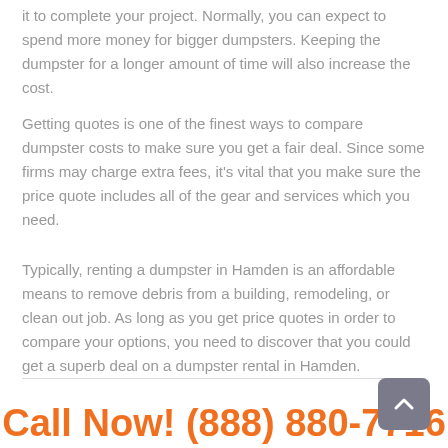it to complete your project. Normally, you can expect to spend more money for bigger dumpsters. Keeping the dumpster for a longer amount of time will also increase the cost.
Getting quotes is one of the finest ways to compare dumpster costs to make sure you get a fair deal. Since some firms may charge extra fees, it's vital that you make sure the price quote includes all of the gear and services which you need.
Typically, renting a dumpster in Hamden is an affordable means to remove debris from a building, remodeling, or clean out job. As long as you get price quotes in order to compare your options, you need to discover that you could get a superb deal on a dumpster rental in Hamden.
Call Now! (888) 880-7716